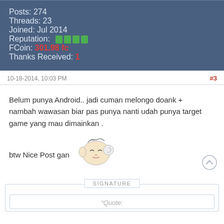Posts: 274
Threads: 23
Joined: Jul 2014
Reputation: [icons]
FCoin: 301.98 fc
Thanks Received: 1
10-18-2014, 10:03 PM
#3
Belum punya Android.. jadi cuman melongo doank + nambah wawasan biar pas punya nanti udah punya target game yang mau dimainkan .
btw Nice Post gan
SIGNATURE
Quote: